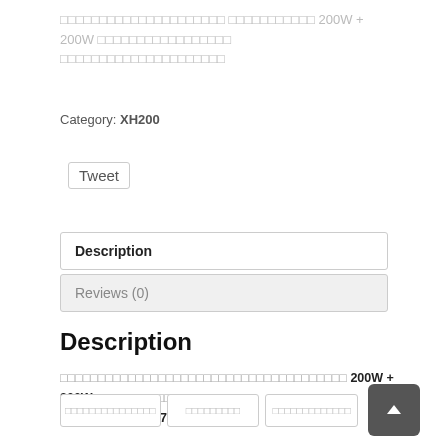□□□□□□□□□□□□□□□□□□□□□ □□□□□□□□□□□ 200W + 200W □□□□□□□□□□□□□□□□□ □□□□□□□□□□□□□□□□□□□□□
Category: XH200
Tweet
Description
Reviews (0)
Description
□□□□□□□□□□□□□□□□□□□□□□□□□□□□□□□□□□□□□ 200W + 200W □□□□□□□□□□□□□□□□□□□ □□□□ 100V □□□□ 70V lines □□□
□□□□□□□□□□□□□□□ □□□□□□□□□ □□□□□□□□□□□□□